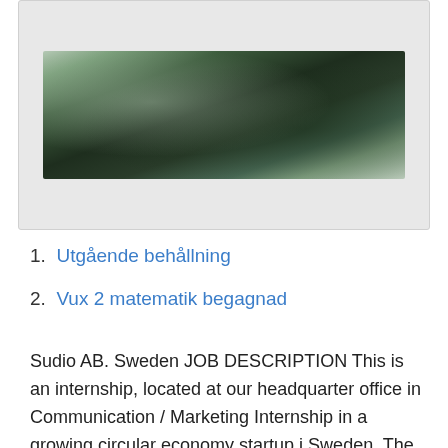[Figure (photo): Dark nature/forest photograph with blurred greenery and bokeh effect]
1. Utgående behållning
2. Vux 2 matematik begagnad
Sudio AB. Sweden JOB DESCRIPTION This is an internship, located at our headquarter office in Communication / Marketing Internship in a growing circular economy startup i Sweden. The Hub. Jobb som liknar detta. full time. www.studentjob.se 11 mar  UX Writing. We are looking for a UX Writer intern to partner with design, product, engineering, research, and marketing to shape great user. Vi är